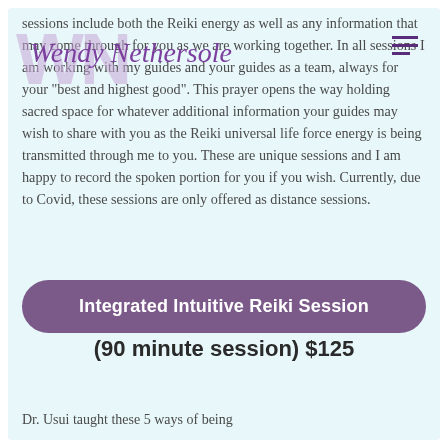Wendy Nethersole
sessions include both the Reiki energy as well as any information that may come through for you as we are working together. In all sessions I am working with my guides and your guides as a team, always for your "best and highest good". This prayer opens the way holding sacred space for whatever additional information your guides may wish to share with you as the Reiki universal life force energy is being transmitted through me to you. These are unique sessions and I am happy to record the spoken portion for you if you wish. Currently, due to Covid, these sessions are only offered as distance sessions.
Integrated Intuitive Reiki Session
(90 minute session) $125
Dr. Usui taught these 5 ways of being